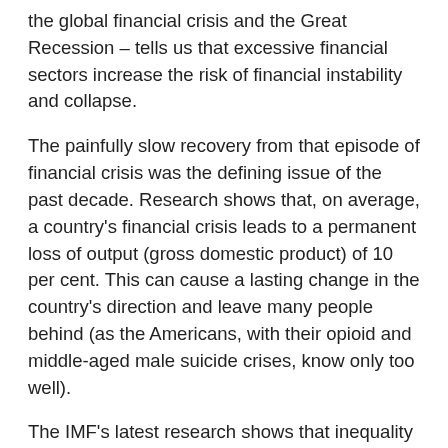the global financial crisis and the Great Recession – tells us that excessive financial sectors increase the risk of financial instability and collapse.
The painfully slow recovery from that episode of financial crisis was the defining issue of the past decade. Research shows that, on average, a country's financial crisis leads to a permanent loss of output (gross domestic product) of 10 per cent. This can cause a lasting change in the country's direction and leave many people behind (as the Americans, with their opioid and middle-aged male suicide crises, know only too well).
The IMF's latest research shows that inequality tends to increase before a financial crisis, suggesting a strong link between inequality and financial instability. But also, of course, the subsequent recession usually leads to a long-term worsening in inequality.
Much effort has been made since the global financial crisis to make the banks more stable and better regulated. But no one imagines this guarantees there couldn't be another